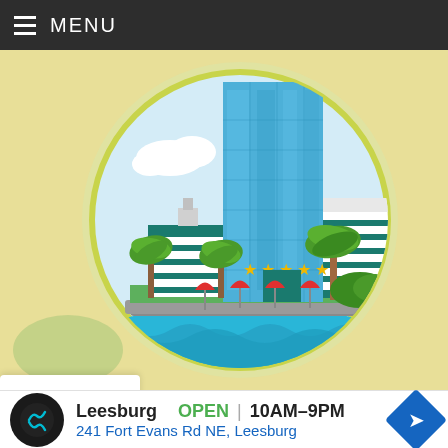MENU
[Figure (illustration): Flat vector illustration of a 5-star hotel resort with tall blue glass skyscraper, shorter striped buildings, palm trees, beach umbrellas, and waterfront, set against a circular teal/yellow background]
Leesburg  OPEN  10AM–9PM
241 Fort Evans Rd NE, Leesburg